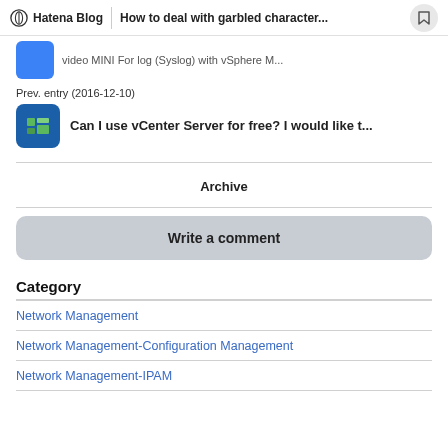Hatena Blog | How to deal with garbled character...
Prev. entry (2016-12-10)
Can I use vCenter Server for free? I would like t...
Archive
Write a comment
Category
Network Management
Network Management-Configuration Management
Network Management-IPAM